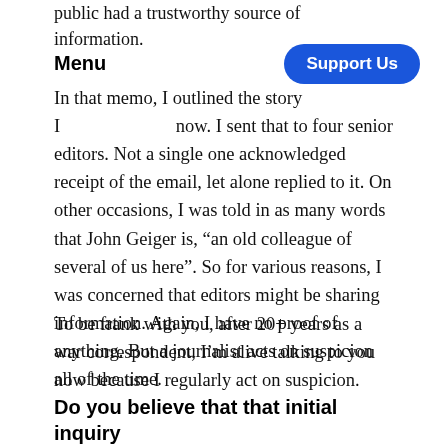public had a trustworthy source of information.
Menu
Support Us
In that memo, I outlined the story I [wanted to pursue] now. I sent that to four senior editors. Not a single one acknowledged receipt of the email, let alone replied to it. On other occasions, I was told in as many words that John Geiger is, “an old colleague of several of us here”. So for various reasons, I was concerned that editors might be sharing information. Again, I have no proof of anything. But a journalist acts on suspicion all of the time.
To be frank with you, after 20+ years as a war correspondent, I’m alive talking to you now because I regularly act on suspicion.
Do you believe that that initial inquiry from your Editor – “What are you working